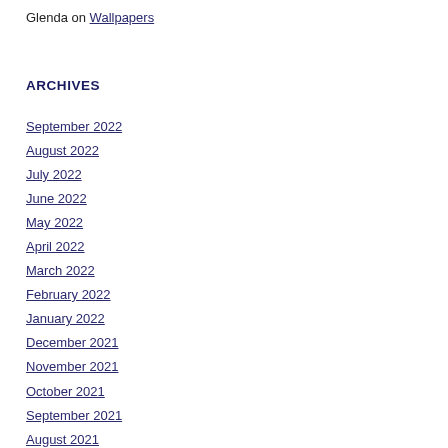Glenda on Wallpapers
ARCHIVES
September 2022
August 2022
July 2022
June 2022
May 2022
April 2022
March 2022
February 2022
January 2022
December 2021
November 2021
October 2021
September 2021
August 2021